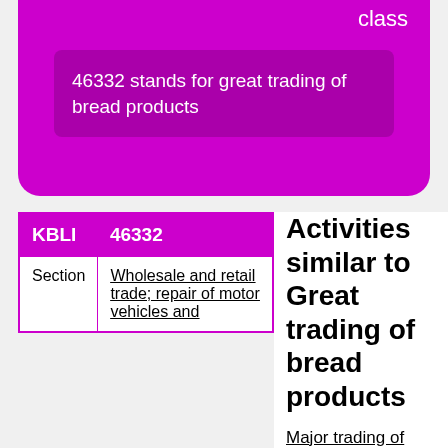class
46332 stands for great trading of bread products
| KBLI | 46332 |
| --- | --- |
| Section | Wholesale and retail trade; repair of motor vehicles and motorcycles |
Activities similar to Great trading of bread products
Major trading of other products ytdl
Non specialised...